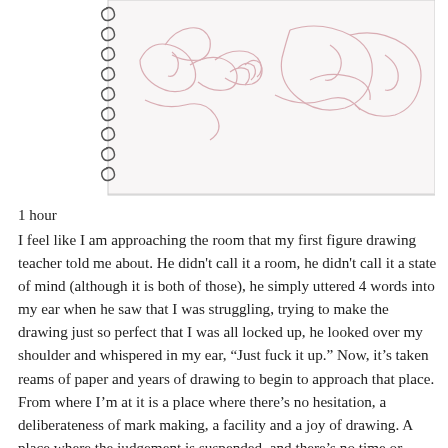[Figure (illustration): A sketch from a spiral-bound notebook showing figure drawing studies in light pink/red pencil lines. The spiral binding is visible on the left side. The drawing depicts human figures in loose gestural form.]
1 hour
I feel like I am approaching the room that my first figure drawing teacher told me about. He didn't call it a room, he didn't call it a state of mind (although it is both of those), he simply uttered 4 words into my ear when he saw that I was struggling, trying to make the drawing just so perfect that I was all locked up, he looked over my shoulder and whispered in my ear, “Just fuck it up.” Now, it’s taken reams of paper and years of drawing to begin to approach that place. From where I’m at it is a place where there’s no hesitation, a deliberateness of mark making, a facility and a joy of drawing. A place where the judgement is suspended, and there’s no time or space for self-doubt. In short a place and a time where